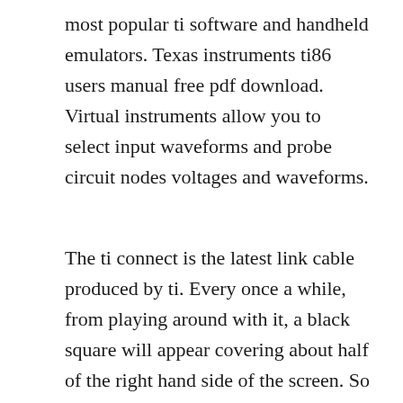most popular ti software and handheld emulators. Texas instruments ti86 users manual free pdf download. Virtual instruments allow you to select input waveforms and probe circuit nodes voltages and waveforms.
The ti connect is the latest link cable produced by ti. Every once a while, from playing around with it, a black square will appear covering about half of the right hand side of the screen. So youve got a new ti graphing calculator, and the first thing in your mind is